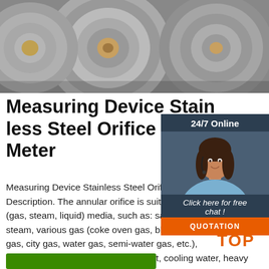[Figure (photo): Steel coil rolls, metallic industrial material, top portion of page]
Measuring Device Stainless Steel Orifice Plate Flow Meter
Measuring Device Stainless Steel Orifice Plate Flow Meter. Description. The annular orifice is suitable for various fluid (gas, steam, liquid) media, such as: saturated steam, Hot steam, various gas (coke oven gas, blast furnace gas, mixed gas, city gas, water gas, semi-water gas, etc.), compressed air, Gas, burner exhaust, cooling water, heavy oil, residual oil, fuel oil, condensate ...
[Figure (photo): Customer service representative, female with headset, smiling, overlaid on dark sidebar with 24/7 Online banner, Click here for free chat text, and QUOTATION orange button]
[Figure (other): TOP badge logo in orange with dots above]
[Figure (other): Green button at bottom left, partially visible]